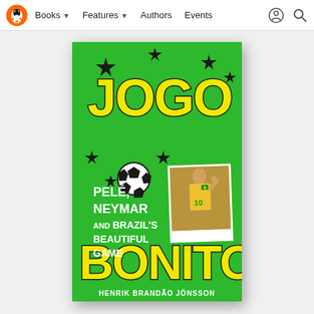Books | Features | Authors | Events
[Figure (illustration): Book cover of 'Jogo Bonito: Pelé, Neymar and Brazil's Beautiful Game' by Henrik Brandão Jönsson. Green background with bold yellow graffiti-style text 'JOGO' at top and 'BONITO' at bottom. Black stars scattered around. White text in middle reads 'Pelé, Neymar and Brazil's Beautiful Game'. A photo of Neymar in Brazil yellow jersey is shown on the right side. A soccer ball graphic is near center-left. Author name at bottom: Henrik Brandão Jönsson.]